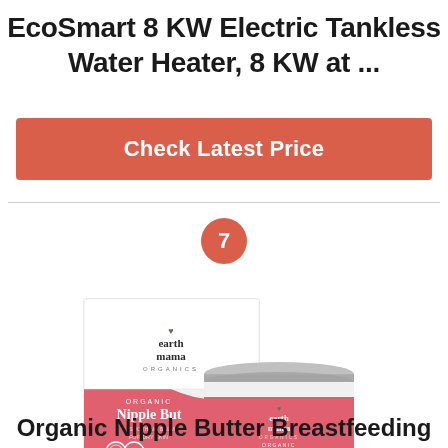EcoSmart 8 KW Electric Tankless Water Heater, 8 KW at ...
Check Latest Price
[Figure (photo): Earth Mama Organics Organic Nipple Butter product photo showing a pink box and a small tin jar with a silver lid]
Organic Nipple Butter Breastfeeding